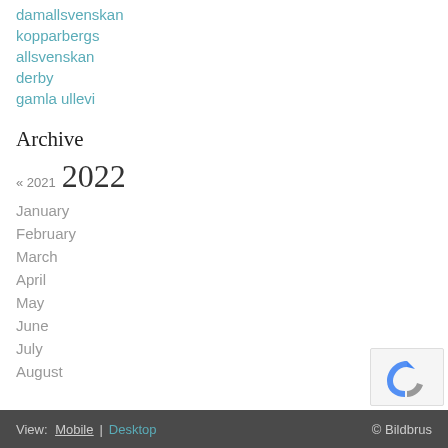damallsvenskan
kopparbergs
allsvenskan
derby
gamla ullevi
Archive
« 2021  2022
January
February
March
April
May
June
July
August
View: Mobile | Desktop   © Bildbrus